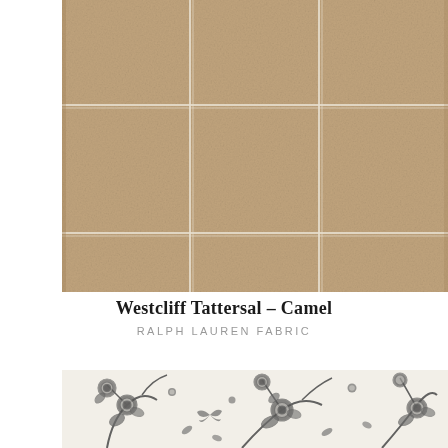[Figure (photo): Camel colored tattersal plaid fabric swatch with white grid lines on warm tan/camel background]
Westcliff Tattersal – Camel
RALPH LAUREN FABRIC
[Figure (photo): Black and white toile fabric swatch with floral and bird/botanical motifs on cream background]